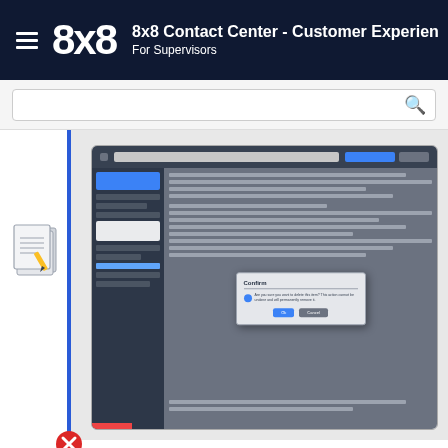8x8 Contact Center - Customer Experience. For Supervisors
[Figure (screenshot): Screenshot of 8x8 Contact Center interface showing a confirmation dialog box overlaying the main application view with OK and Cancel buttons]
[Figure (illustration): Red circle with white X icon (close/error button)]